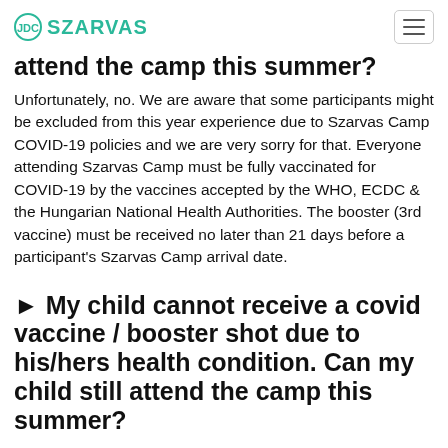SZARVAS
attend the camp this summer?
Unfortunately, no. We are aware that some participants might be excluded from this year experience due to Szarvas Camp COVID-19 policies and we are very sorry for that. Everyone attending Szarvas Camp must be fully vaccinated for COVID-19 by the vaccines accepted by the WHO, ECDC & the Hungarian National Health Authorities. The booster (3rd vaccine) must be received no later than 21 days before a participant's Szarvas Camp arrival date.
► My child cannot receive a covid vaccine / booster shot due to his/hers health condition. Can my child still attend the camp this summer?